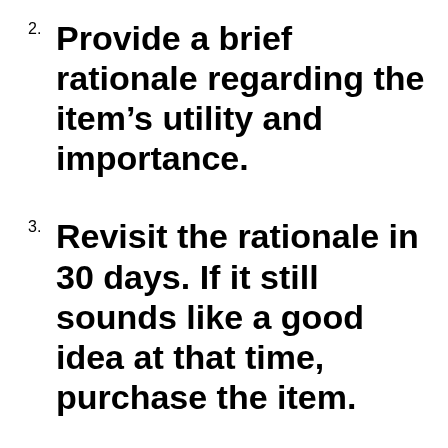2. Provide a brief rationale regarding the item's utility and importance.
3. Revisit the rationale in 30 days. If it still sounds like a good idea at that time, purchase the item.